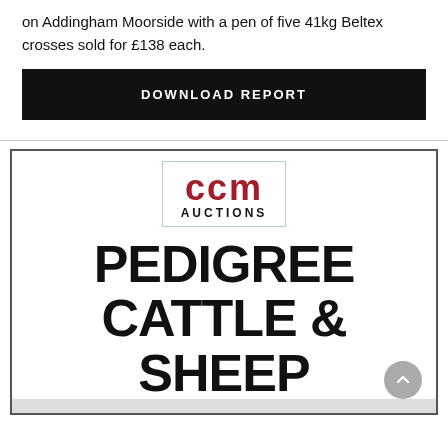on Addingham Moorside with a pen of five 41kg Beltex crosses sold for £138 each.
DOWNLOAD REPORT
[Figure (logo): CCM Auctions logo with red lowercase 'ccm' text and 'AUCTIONS' in black below, inside a teal-bordered rectangle]
PEDIGREE CATTLE & SHEEP